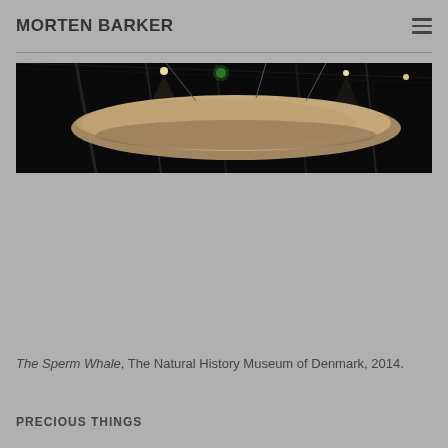MORTEN BARKER
[Figure (photo): Dark interior museum photo showing a large whale specimen suspended from the ceiling with spotlights illuminating it from above in a black-ceilinged gallery space]
The Sperm Whale, The Natural History Museum of Denmark, 2014.
PRECIOUS THINGS